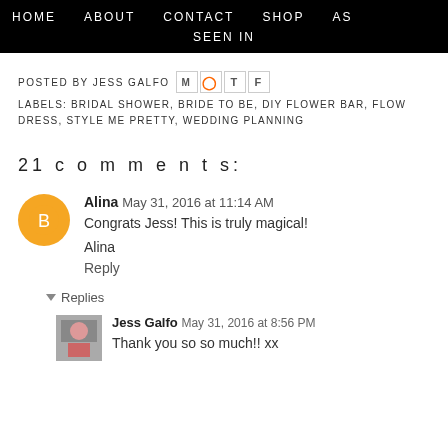HOME  ABOUT  CONTACT  SHOP  AS
SEEN IN
POSTED BY JESS GALFO
LABELS: BRIDAL SHOWER, BRIDE TO BE, DIY FLOWER BAR, FLOW DRESS, STYLE ME PRETTY, WEDDING PLANNING
21 comments:
Alina  May 31, 2016 at 11:14 AM
Congrats Jess! This is truly magical!

Alina
Reply
Replies
Jess Galfo  May 31, 2016 at 8:56 PM
Thank you so so much!! xx